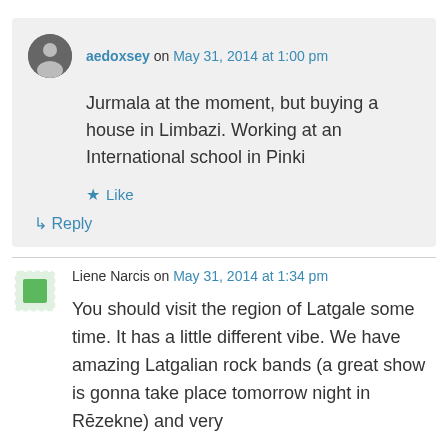aedoxsey on May 31, 2014 at 1:00 pm
Jurmala at the moment, but buying a house in Limbazi. Working at an International school in Pinki
★ Like
↳ Reply
Liene Narcis on May 31, 2014 at 1:34 pm
You should visit the region of Latgale some time. It has a little different vibe. We have amazing Latgalian rock bands (a great show is gonna take place tomorrow night in Rēzekne) and very